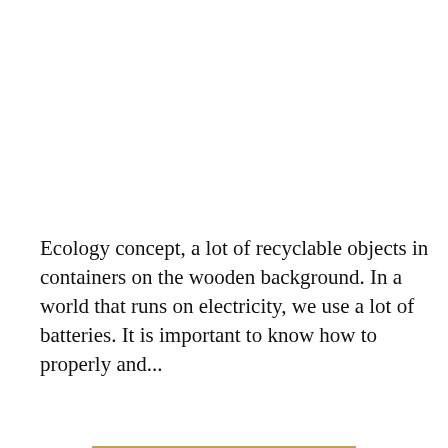Ecology concept, a lot of recyclable objects in containers on the wooden background. In a world that runs on electricity, we use a lot of batteries. It is important to know how to properly and...
CONTINUE READING
S IT LEGAL TO DUMP ASHES IN